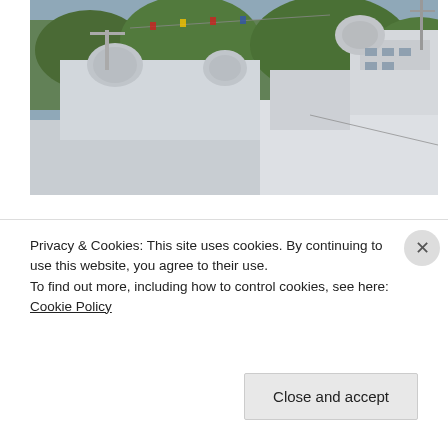[Figure (photo): Naval warships docked at port, showing gray superstructures, radar domes, masts, and antennas against a background of green trees and blue sky. Close-up of ship hulls and equipment.]
[Figure (photo): Second photo of naval warship, showing masts, radar equipment, an orange antenna, radar dome, and trees visible in the background.]
Privacy & Cookies: This site uses cookies. By continuing to use this website, you agree to their use.
To find out more, including how to control cookies, see here: Cookie Policy